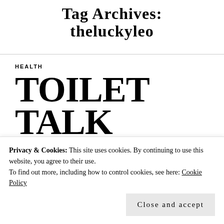Tag Archives: theluckyleo
HEALTH
TOILET TALK
Privacy & Cookies: This site uses cookies. By continuing to use this website, you agree to their use. To find out more, including how to control cookies, see here: Cookie Policy
Close and accept
WHITTARD | LEAVE A COMMENT